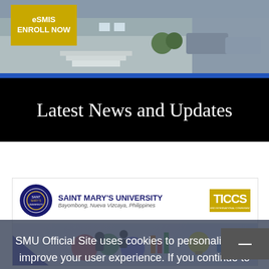[Figure (photo): Campus building exterior photo with eSMIS ENROLL NOW button overlay in gold/yellow]
Latest News and Updates
[Figure (screenshot): Saint Mary's University conference card header with university logo, name, location (Bayombong, Nueva Vizcaya, Philippines), and TICCS logo]
SMU Official Site uses cookies to personalise and improve your user experience. If you continue to use this website, you will be providing consent to our use of cookies.
Accept